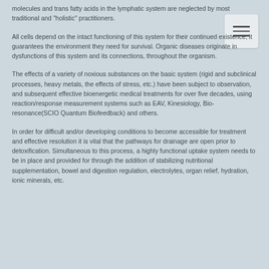molecules and trans fatty acids in the lymphatic system are neglected by most traditional and "holistic" practitioners.
All cells depend on the intact functioning of this system for their continued existence, it guarantees the environment they need for survival. Organic diseases originate in dysfunctions of this system and its connections, throughout the organism.
The effects of a variety of noxious substances on the basic system (rigid and subclinical processes, heavy metals, the effects of stress, etc.) have been subject to observation, and subsequent effective bioenergetic medical treatments for over five decades, using reaction/response measurement systems such as EAV, Kinesiology, Bio-resonance(SCIO Quantum Biofeedback) and others.
In order for difficult and/or developing conditions to become accessible for treatment and effective resolution it is vital that the pathways for drainage are open prior to detoxification. Simultaneous to this process, a highly functional uptake system needs to be in place and provided for through the addition of stabilizing nutritional supplementation, bowel and digestion regulation, electrolytes, organ relief, hydration, ionic minerals, etc.